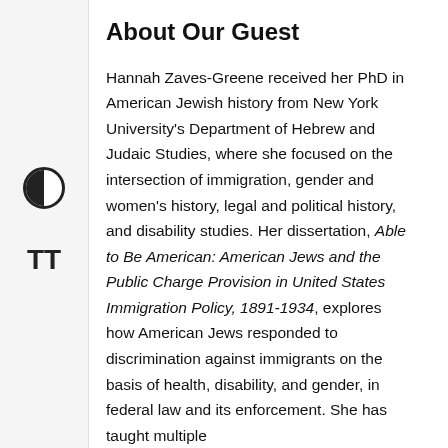About Our Guest
Hannah Zaves-Greene received her PhD in American Jewish history from New York University’s Department of Hebrew and Judaic Studies, where she focused on the intersection of immigration, gender and women’s history, legal and political history, and disability studies. Her dissertation, Able to Be American: American Jews and the Public Charge Provision in United States Immigration Policy, 1891-1934, explores how American Jews responded to discrimination against immigrants on the basis of health, disability, and gender, in federal law and its enforcement. She has taught multiple courses at Georgetown and the New School...